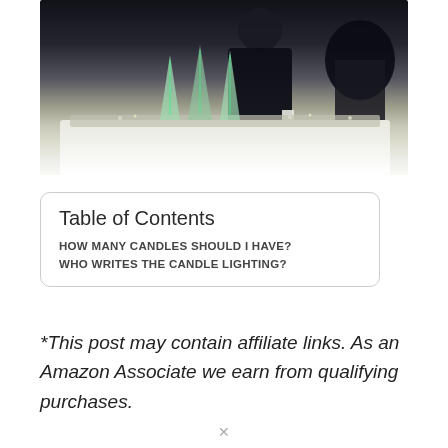[Figure (photo): A man in a dark suit standing behind a decorated table with crystal/glass award sculptures on it, covered with a white tablecloth with silver/sparkly decorations, at what appears to be an event or ceremony.]
| Table of Contents |
| --- |
| HOW MANY CANDLES SHOULD I HAVE? |
| WHO WRITES THE CANDLE LIGHTING? |
*This post may contain affiliate links. As an Amazon Associate we earn from qualifying purchases.